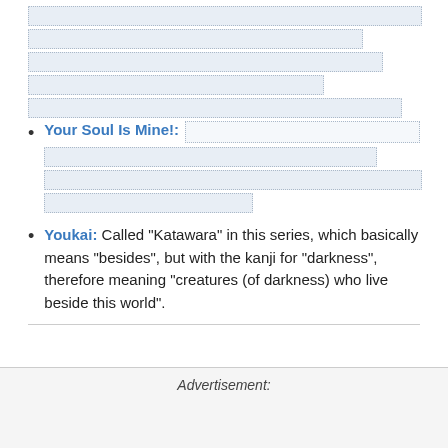Your Soul Is Mine!:
Youkai: Called "Katawara" in this series, which basically means "besides", but with the kanji for "darkness", therefore meaning "creatures (of darkness) who live beside this world".
Advertisement: